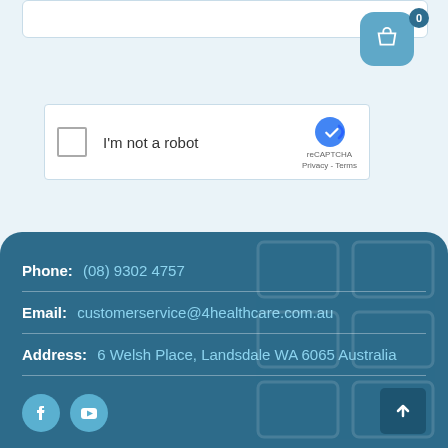[Figure (screenshot): Partial text input field at the top of the page]
[Figure (screenshot): reCAPTCHA widget with checkbox labeled I'm not a robot]
Submit
Phone: (08) 9302 4757
Email: customerservice@4healthcare.com.au
Address: 6 Welsh Place, Landsdale WA 6065 Australia
[Figure (screenshot): Social media icons: Facebook and YouTube, and back-to-top button with arrow]